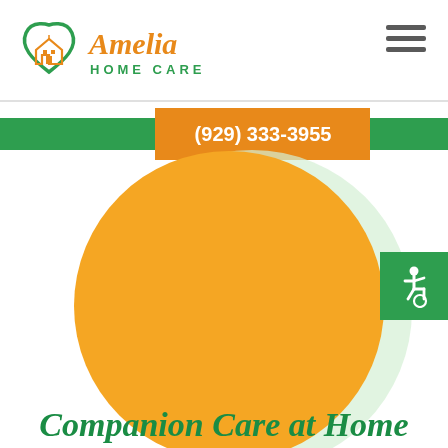[Figure (logo): Amelia Home Care logo with heart-shaped house icon in green and orange, with text 'Amelia' in orange cursive and 'HOME CARE' in green]
[Figure (infographic): Green horizontal banner with orange phone number panel centered showing '(929) 333-3955']
[Figure (infographic): Large orange circle on white background with a light mint/pale green shadow circle behind it, and a green accessibility icon badge on the right side]
Companion Care at Home